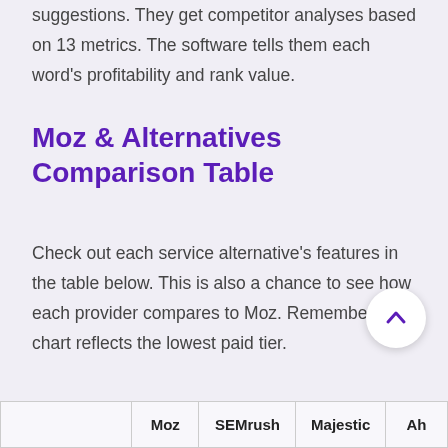suggestions. They get competitor analyses based on 13 metrics. The software tells them each word's profitability and rank value.
Moz & Alternatives Comparison Table
Check out each service alternative's features in the table below. This is also a chance to see how each provider compares to Moz. Remember, this chart reflects the lowest paid tier.
|  | Moz | SEMrush | Majestic | Ah... |
| --- | --- | --- | --- | --- |